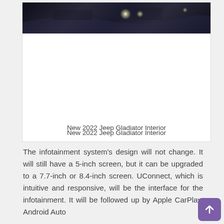[Figure (photo): Dark interior photo of 2022 Jeep Gladiator showing dashboard area with bright light spots]
New 2022 Jeep Gladiator Interior
The infotainment system's design will not change. It will still have a 5-inch screen, but it can be upgraded to a 7.7-inch or 8.4-inch screen. UConnect, which is intuitive and responsive, will be the interface for the infotainment. It will be followed up by Apple CarPlay, Android Auto